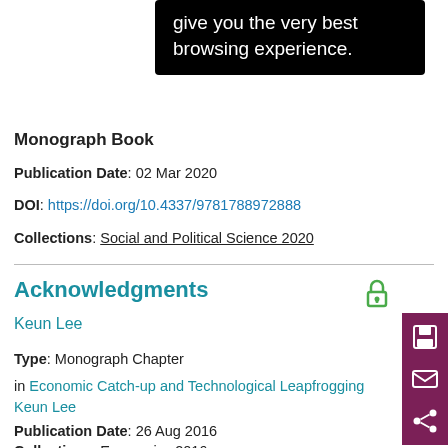give you the very best browsing experience.
Monograph Book
Publication Date:  02 Mar 2020
DOI:  https://doi.org/10.4337/9781788972888
Collections:  Social and Political Science 2020
Acknowledgments
Keun Lee
Type:  Monograph Chapter
in Economic Catch-up and Technological Leapfrogging Keun Lee
Publication Date:  26 Aug 2016
Collections:  Economics 2016